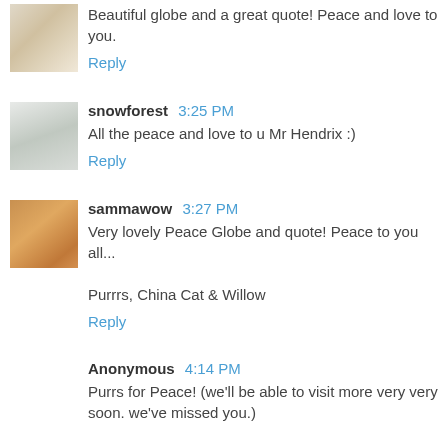Beautiful globe and a great quote! Peace and love to you.
Reply
snowforest  3:25 PM
All the peace and love to u Mr Hendrix :)
Reply
sammawow  3:27 PM
Very lovely Peace Globe and quote! Peace to you all...
Purrrs, China Cat & Willow
Reply
Anonymous  4:14 PM
Purrs for Peace! (we'll be able to visit more very very soon. we've missed you.)